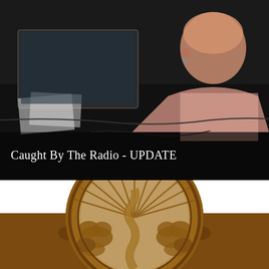[Figure (photo): A dark indoor scene showing a person from behind at what appears to be a radio or broadcast studio setup, with a monitor/screen visible and cables on a dark table surface.]
Caught By The Radio - UPDATE
[Figure (logo): A brown illustrated logo/seal featuring a circular emblem with radiating sunburst lines at the top and a winding river or path through a landscape with tree/cloud shapes on either side, mounted on a brown decorative base with curved architectural elements.]